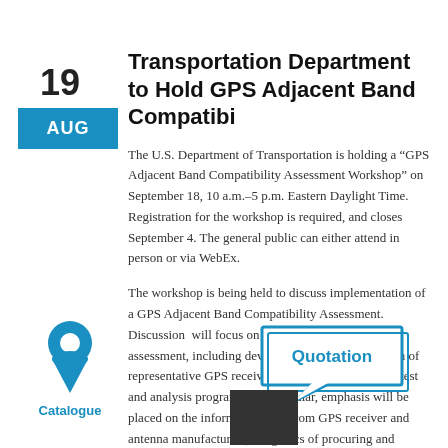19
AUG
Transportation Department to Hold GPS Adjacent Band Compatibi
The U.S. Department of Transportation is holding a “GPS Adjacent Band Compatibility Assessment Workshop” on September 18, 10 a.m.–5 p.m. Eastern Daylight Time. Registration for the workshop is required, and closes September 4. The general public can either attend in person or via WebEx.
[Figure (illustration): Blue location pin / map marker icon with 'Catalogue' label below in blue text]
The workshop is being held to discuss implementation of a GPS Adjacent Band Compatibility Assessment. Discussion will focus on the various implementation assessment, including development of the identification of representative GPS receivers, and development of a test and analysis program. “In particular, emphasis will be placed on the information needed from GPS receiver and antenna manufacturers, and logistics of procuring and handling that information to safeguard
[Figure (illustration): Speech bubble graphic with 'Quotation' text in blue]
[Figure (illustration): Dark square overlay / redacted block]